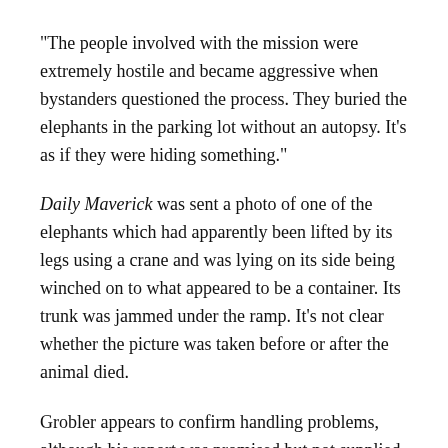“The people involved with the mission were extremely hostile and became aggressive when bystanders questioned the process. They buried the elephants in the parking lot without an autopsy. It’s as if they were hiding something.”
Daily Maverick was sent a photo of one of the elephants which had apparently been lifted by its legs using a crane and was lying on its side being winched on to what appeared to be a container. Its trunk was jammed under the ramp. It’s not clear whether the picture was taken before or after the animal died.
Grobler appears to confirm handling problems, although his report was promised but not supplied by the time of publication. In a telephonic interview, he said the operation was “the worst day of my career as a wildlife vet. Taking responsibility and taking the lives of animals